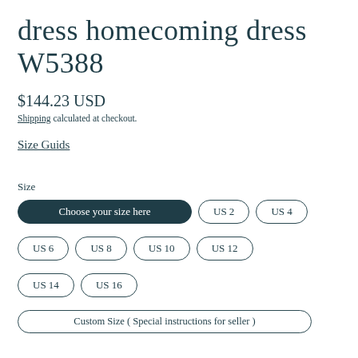dress homecoming dress W5388
$144.23 USD
Shipping calculated at checkout.
Size Guids
Size
Choose your size here
US 2
US 4
US 6
US 8
US 10
US 12
US 14
US 16
Custom Size ( Special instructions for seller )